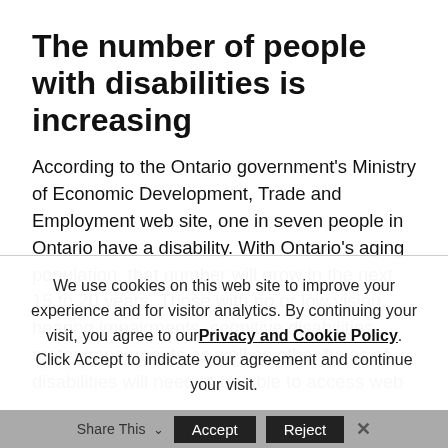The number of people with disabilities is increasing
According to the Ontario government's Ministry of Economic Development, Trade and Employment web site, one in seven people in Ontario have a disability. With Ontario's aging population, that number will grow in the next 15 to 20 years. Those with no or low vision, hearing impairments, cognitive disabilities, motor impairments as well as other types of disabilities will need to be able to access web
We use cookies on this web site to improve your experience and for visitor analytics. By continuing your visit, you agree to our Privacy and Cookie Policy. Click Accept to indicate your agreement and continue your visit.
Share This  Accept  Reject  ×